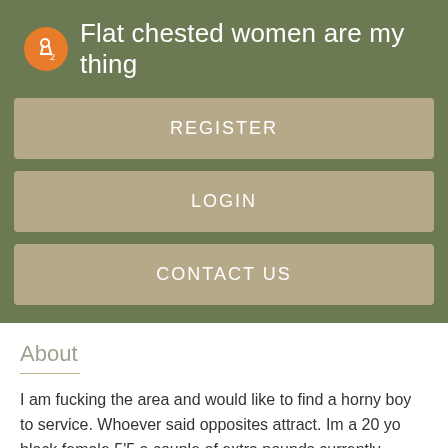Flat chested women are my thing
REGISTER
LOGIN
CONTACT US
About
I am fucking the area and would like to find a horny boy to service. Whoever said opposites attract. Im a 20 yo black female 5'5 a couple of extra pounds currently working and attending school. I am 28, 5'6, muscular Want to watch porn with someone curves, long curly hair